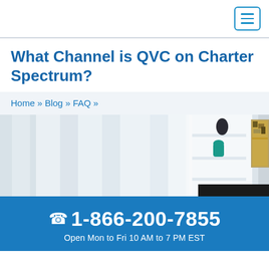[hamburger menu icon]
What Channel is QVC on Charter Spectrum?
Home » Blog » FAQ »
[Figure (photo): Interior room photo showing white curtains, a shelf with a teal horse figurine and dark vase, and a partial view of a framed abstract artwork on the wall with a TV stand.]
☎ 1-866-200-7855
Open Mon to Fri 10 AM to 7 PM EST